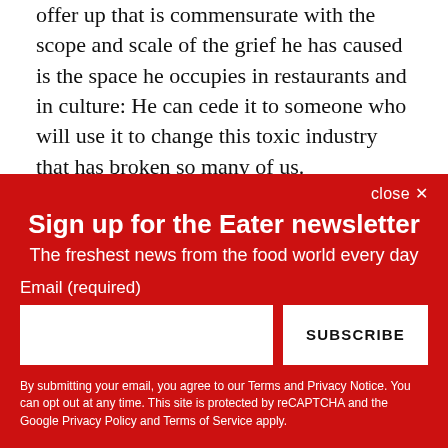offer up that is commensurate with the scope and scale of the grief he has caused is the space he occupies in restaurants and in culture: He can cede it to someone who will use it to change this toxic industry that has broken so many of us.
The book's parting image leaves the reader with a fruit-laden Chang, peaches and nectarines, acquired from the farmers
close ×
Sign up for the Eater newsletter
The freshest news from the food world every day
Email (required)
SUBSCRIBE
By submitting your email, you agree to our Terms and Privacy Notice. You can opt out at any time. This site is protected by reCAPTCHA and the Google Privacy Policy and Terms of Service apply.